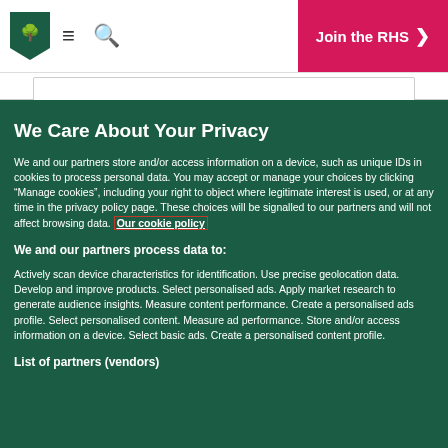RHS logo | hamburger menu | search | Join the RHS >
We Care About Your Privacy
We and our partners store and/or access information on a device, such as unique IDs in cookies to process personal data. You may accept or manage your choices by clicking “Manage cookies”, including your right to object where legitimate interest is used, or at any time in the privacy policy page. These choices will be signalled to our partners and will not affect browsing data. Our cookie policy
We and our partners process data to:
Actively scan device characteristics for identification. Use precise geolocation data. Develop and improve products. Select personalised ads. Apply market research to generate audience insights. Measure content performance. Create a personalised ads profile. Select personalised content. Measure ad performance. Store and/or access information on a device. Select basic ads. Create a personalised content profile.
List of partners (vendors)